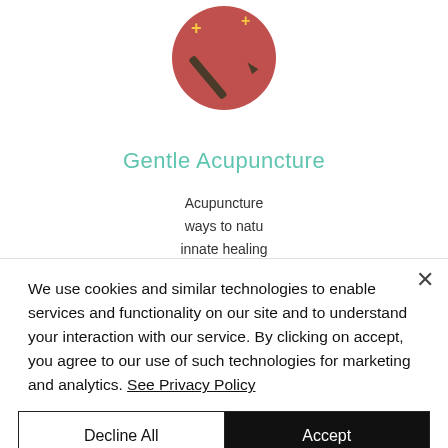[Figure (illustration): Circular red/pink icon with acupuncture needles and plus signs on a white background]
Gentle Acupuncture
Acupuncture ways to natu innate healing work repairin tissues. Laser vast healin
[Figure (screenshot): Chat popup with digital assistant Wendi. Text reads: 'Hi! I'm Wendi, a digital assistant, and I'd love to see how we can help. Are you a new or existing patient?']
We use cookies and similar technologies to enable services and functionality on our site and to understand your interaction with our service. By clicking on accept, you agree to our use of such technologies for marketing and analytics. See Privacy Policy
Decline All
Accept
Cookie Settings